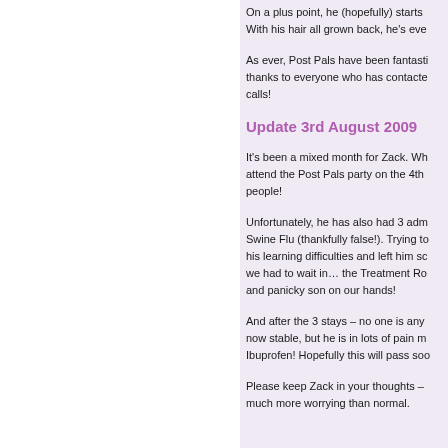On a plus point, he (hopefully) starts … With his hair all grown back, he's eve…
As ever, Post Pals have been fantasti… thanks to everyone who has contacte… calls!
Update 3rd August 2009
It's been a mixed month for Zack. Wh… attend the Post Pals party on the 4th … people!
Unfortunately, he has also had 3 adm… Swine Flu (thankfully false!). Trying to… his learning difficulties and left him sc… we had to wait in… the Treatment Ro… and panicky son on our hands!
And after the 3 stays – no one is any … now stable, but he is in lots of pain m… Ibuprofen! Hopefully this will pass soo…
Please keep Zack in your thoughts – … much more worrying than normal.